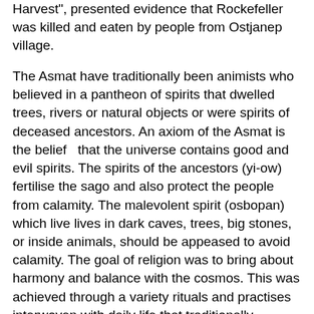Harvest", presented evidence that Rockefeller was killed and eaten by people from Ostjanep village.
The Asmat have traditionally been animists who believed in a pantheon of spirits that dwelled trees, rivers or natural objects or were spirits of deceased ancestors. An axiom of the Asmat is the belief  that the universe contains good and evil spirits. The spirits of the ancestors (yi-ow) fertilise the sago and also protect the people from calamity. The malevolent spirit (osbopan) which live lives in dark caves, trees, big stones, or inside animals, should be appeased to avoid calamity. The goal of religion was to bring about harmony and balance with the cosmos. This was achieved through a variety rituals and practises interwoven with daily life that traditionally included things like woodcarving, warfare and, headhunting. Headhunting raids were an important element of Asmat culture until missionaries suppressed the practise, which, according to some accounts, persisted into the 1990's. The death of an adult, even by disease, was believed to be caused by an enemy. Asmat believe that death occurs only through